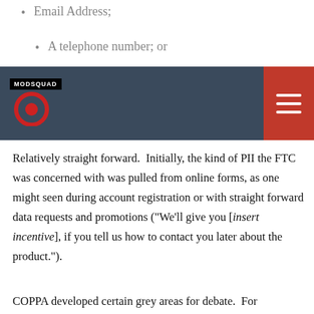Email Address;
A telephone number; or
al security number
MODSQUAD [navigation bar with logo and hamburger menu]
Relatively straight forward.  Initially, the kind of PII the FTC was concerned with was pulled from online forms, as one might seen during account registration or with straight forward data requests and promotions (“We’ll give you [insert incentive], if you tell us how to contact you later about the product.”).
To ensure you get the best experience, we use cookies on our website. By continuing to use our website you agree to our use of cookies. Learn more
GOT IT!
n games the youth oloading Content ed on this,
COPPA developed certain grey areas for debate.  For